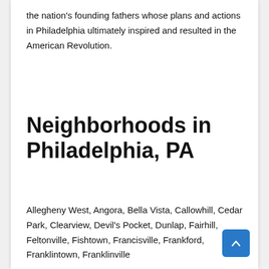the nation's founding fathers whose plans and actions in Philadelphia ultimately inspired and resulted in the American Revolution.
Neighborhoods in Philadelphia, PA
Allegheny West, Angora, Bella Vista, Callowhill, Cedar Park, Clearview, Devil's Pocket, Dunlap, Fairhill, Feltonville, Fishtown, Francisville, Frankford, Franklintown, Franklinville